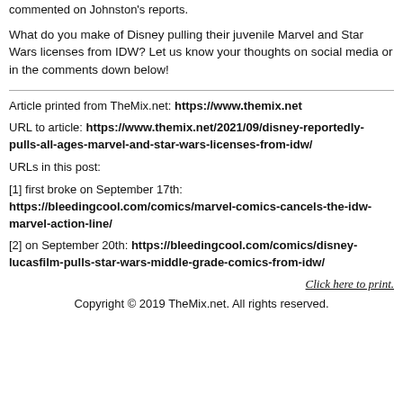commented on Johnston's reports.
What do you make of Disney pulling their juvenile Marvel and Star Wars licenses from IDW? Let us know your thoughts on social media or in the comments down below!
Article printed from TheMix.net: https://www.themix.net
URL to article: https://www.themix.net/2021/09/disney-reportedly-pulls-all-ages-marvel-and-star-wars-licenses-from-idw/
URLs in this post:
[1] first broke on September 17th: https://bleedingcool.com/comics/marvel-comics-cancels-the-idw-marvel-action-line/
[2] on September 20th: https://bleedingcool.com/comics/disney-lucasfilm-pulls-star-wars-middle-grade-comics-from-idw/
Click here to print.
Copyright © 2019 TheMix.net. All rights reserved.